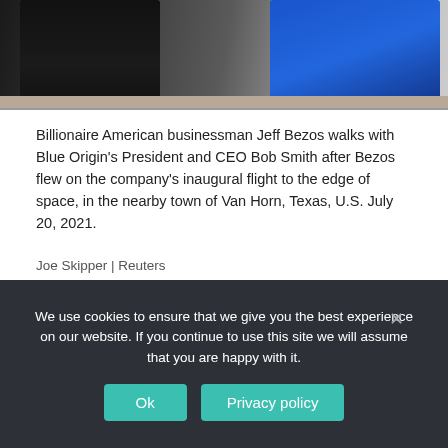[Figure (photo): Photo of two people walking — one in dark clothing, one in blue — after Blue Origin's inaugural flight, Van Horn Texas]
Billionaire American businessman Jeff Bezos walks with Blue Origin's President and CEO Bob Smith after Bezos flew on the company's inaugural flight to the edge of space, in the nearby town of Van Horn, Texas, U.S. July 20, 2021.
Joe Skipper | Reuters
Jeff Bezos' Blue Origin is suffering from an elevated turnover rate, CNBC has learned, with the space company losing talent primarily from CEO Bob Smith's pressure to return to the office.
A Blue Origin spokesperson told CNBC that attrition "has never exceeded 12.7%" on an annualized rate, which measures personnel